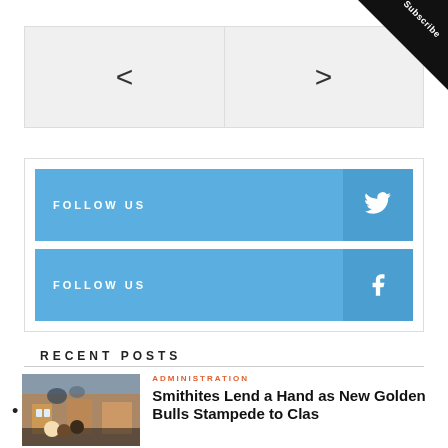[Figure (screenshot): Navigation slider with left and right arrow buttons on a light gray background]
[Figure (infographic): Two social media follow buttons: Twitter (bird icon, blue) and Facebook (f icon, blue)]
RECENT POSTS
[Figure (photo): Photo of students in front of a brick building]
ADMINISTRATION
Smithites Lend a Hand as New Golden Bulls Stampede to Class